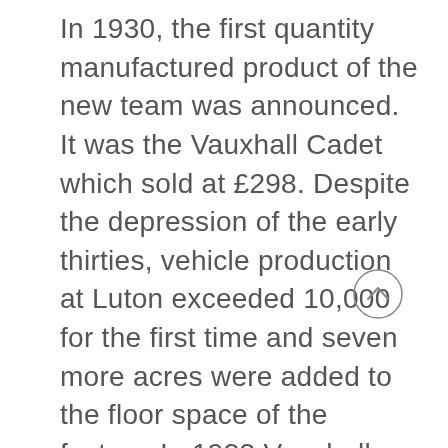In 1930, the first quantity manufactured product of the new team was announced. It was the Vauxhall Cadet which sold at £298. Despite the depression of the early thirties, vehicle production at Luton exceeded 10,000 for the first time and seven more acres were added to the floor space of the factory. In 1933 Vauxhall again made car engineering history by producing the Light Six, which was the forerunner of quantity
[Figure (other): Circular scroll-up button with a chevron/caret pointing upward]